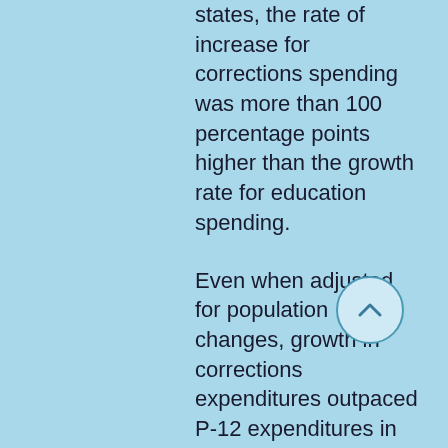states, the rate of increase for corrections spending was more than 100 percentage points higher than the growth rate for education spending.
Even when adjusted for population changes, growth in corrections expenditures outpaced P-12 expenditures in all but two states (New Hampshire and Massachusetts).
Over the roughly two decades, between 1989–1990 and 2012–2013, state and local appropriations for public colleges and universities remained flat, while funding for corrections increased by nearly 90 percent.
On average, state and local higher